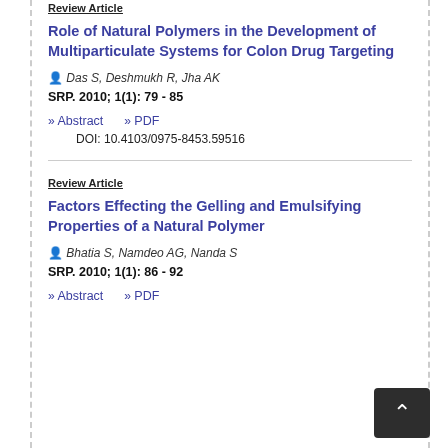Review Article
Role of Natural Polymers in the Development of Multiparticulate Systems for Colon Drug Targeting
Das S, Deshmukh R, Jha AK
SRP. 2010; 1(1): 79 - 85
>> Abstract    >> PDF
DOI: 10.4103/0975-8453.59516
Review Article
Factors Effecting the Gelling and Emulsifying Properties of a Natural Polymer
Bhatia S, Namdeo AG, Nanda S
SRP. 2010; 1(1): 86 - 92
>> Abstract    >> PDF